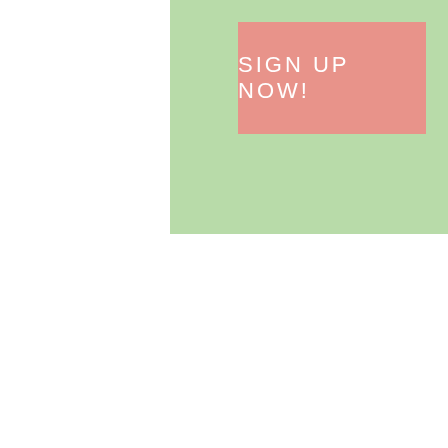[Figure (screenshot): Green banner section with a pink/salmon 'SIGN UP NOW!' button centered inside]
Search
Don't miss out on regular updates.